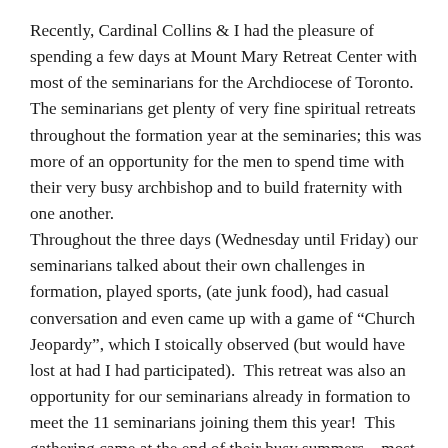Recently, Cardinal Collins & I had the pleasure of spending a few days at Mount Mary Retreat Center with most of the seminarians for the Archdiocese of Toronto.  The seminarians get plenty of very fine spiritual retreats throughout the formation year at the seminaries; this was more of an opportunity for the men to spend time with their very busy archbishop and to build fraternity with one another. Throughout the three days (Wednesday until Friday) our seminarians talked about their own challenges in formation, played sports, (ate junk food), had casual conversation and even came up with a game of “Church Jeopardy”, which I stoically observed (but would have lost at had I had participated).  This retreat was also an opportunity for our seminarians already in formation to meet the 11 seminarians joining them this year!  This gathering came at the end of their busy summers – most of our seminarians serve in parishes, serve at our shrines (Marylake & Martyr’s Shrine), evangelize as missionaries for Totus Tuus and work in various secular positions (landscaping,